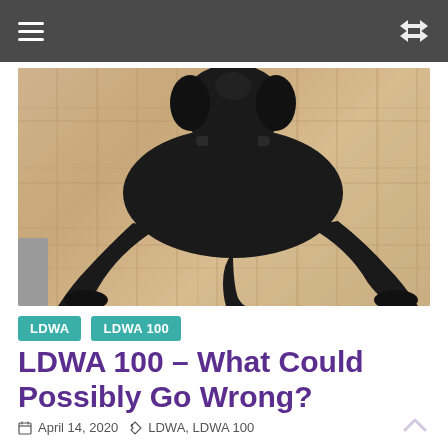Navigation bar with hamburger menu and shuffle icon
[Figure (photo): A black Labrador dog lying stretched out flat on a light wood parquet floor, viewed from above. The dog's body is fully extended with legs splayed out behind it.]
LDWA  LDWA 100
LDWA 100 – What Could Possibly Go Wrong?
April 14, 2020  LDWA, LDWA 100